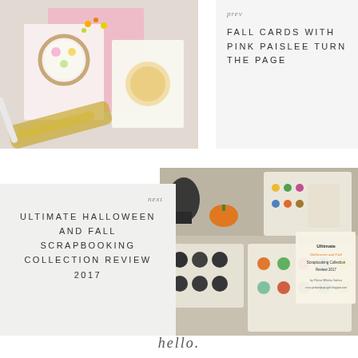[Figure (photo): Craft cards with scissors, pink and floral scrapbooking cards on a white background]
prev
FALL CARDS WITH PINK PAISLEE TURN THE PAGE
[Figure (photo): Halloween and fall scrapbooking collection items including stickers, embellishments, and patterned paper]
next
ULTIMATE HALLOWEEN AND FALL SCRAPBOOKING COLLECTION REVIEW 2017
hello.